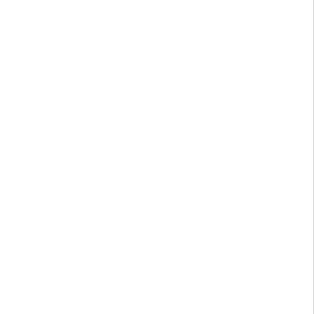in the iPa jus thi of it slig as a an ove iPh Bu tha is exa wh it is not Fro act hav